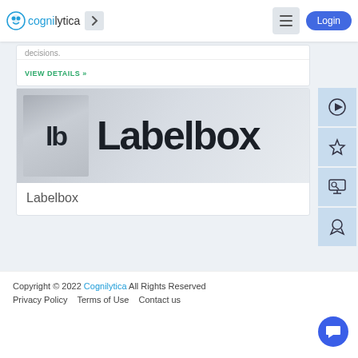cognilytica > [hamburger] Login
decisions.
VIEW DETAILS »
[Figure (logo): Labelbox logo: 'lb' icon on grey background followed by 'Labelbox' text in dark bold sans-serif]
Labelbox
Copyright © 2022 Cognilytica All Rights Reserved
Privacy Policy   Terms of Use   Contact us